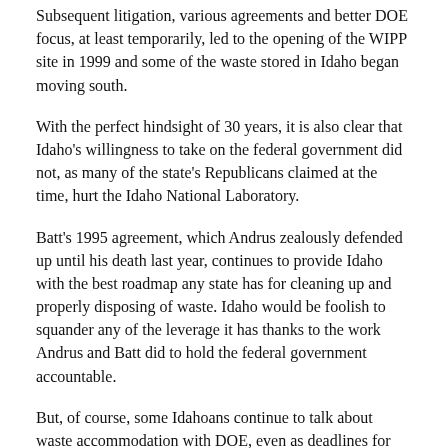Subsequent litigation, various agreements and better DOE focus, at least temporarily, led to the opening of the WIPP site in 1999 and some of the waste stored in Idaho began moving south.
With the perfect hindsight of 30 years, it is also clear that Idaho's willingness to take on the federal government did not, as many of the state's Republicans claimed at the time, hurt the Idaho National Laboratory.
Batt's 1995 agreement, which Andrus zealously defended up until his death last year, continues to provide Idaho with the best roadmap any state has for cleaning up and properly disposing of waste. Idaho would be foolish to squander any of the leverage it has thanks to the work Andrus and Batt did to hold the federal government accountable.
But, of course, some Idahoans continue to talk about waste accommodation with DOE, even as deadlines for more removal and clean up are missed and the DOE behemoth stumbles forward.
A former Texas governor who once advocated eliminating the agency now heads DOE. As Michael Lewis demonstrates in his scary new book "The Fifth Risk," DOE Secretary Rick Perry is little